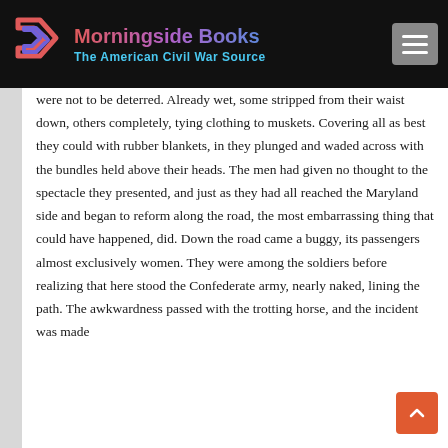[Figure (logo): Morningside Books logo with geometric arrow icon in pink/purple/blue gradient, company name in gradient text, and tagline 'The American Civil War Source' in cyan, on black background with hamburger menu button]
were not to be deterred. Already wet, some stripped from their waist down, others completely, tying clothing to muskets. Covering all as best they could with rubber blankets, in they plunged and waded across with the bundles held above their heads. The men had given no thought to the spectacle they presented, and just as they had all reached the Maryland side and began to reform along the road, the most embarrassing thing that could have happened, did. Down the road came a buggy, its passengers almost exclusively women. They were among the soldiers before realizing that here stood the Confederate army, nearly naked, lining the path. The awkwardness passed with the trotting horse, and the incident was made